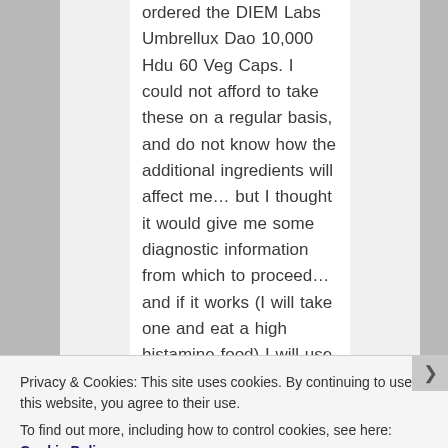ordered the DIEM Labs Umbrellux Dao 10,000 Hdu 60 Veg Caps. I could not afford to take these on a regular basis, and do not know how the additional ingredients will affect me… but I thought it would give me some diagnostic information from which to proceed…and if it works (I will take one and eat a high histamine food) I will use them for special occasions and then go back to my
Privacy & Cookies: This site uses cookies. By continuing to use this website, you agree to their use.
To find out more, including how to control cookies, see here: Cookie Policy